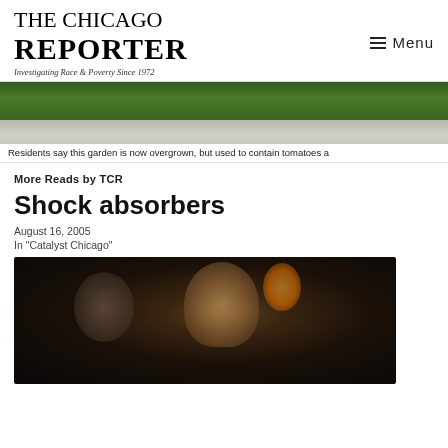THE CHICAGO REPORTER — Investigating Race & Poverty Since 1972 — Menu
[Figure (photo): Overgrown garden area with grass and a path, partially visible.]
Residents say this garden is now overgrown, but used to contain tomatoes a
More Reads by TCR
Shock absorbers
August 16, 2005
In "Catalyst Chicago"
[Figure (photo): Dark photograph of people in a dimly lit setting with an orange/warm light source visible.]